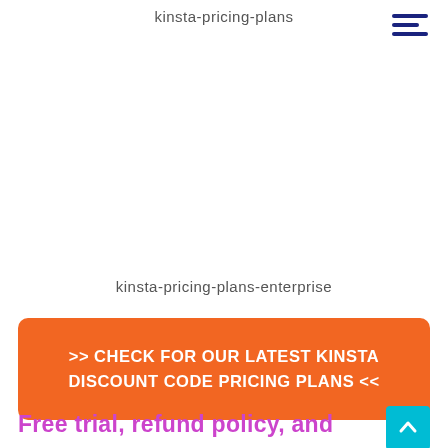kinsta-pricing-plans
kinsta-pricing-plans-enterprise
>> CHECK FOR OUR LATEST KINSTA DISCOUNT CODE PRICING PLANS <<
Free trial, refund policy, and